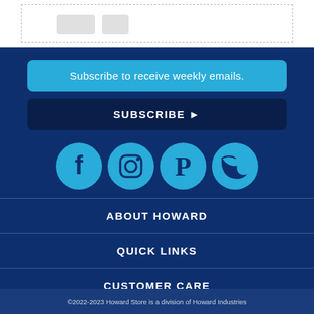Subscribe to receive weekly emails.
SUBSCRIBE ▶
[Figure (illustration): Social media icons: Facebook, Instagram, Pinterest, Twitter in cyan circles on dark blue background]
ABOUT HOWARD
QUICK LINKS
CUSTOMER CARE
STAY IN TOUCH
©2022-2023 Howard Store is a division of Howard Industries